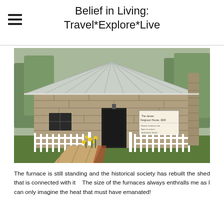Belief in Living: Travel*Explore*Live
[Figure (photo): A historic stone building with a metal roof and black door, surrounded by a white picket fence and yellow wildflowers. A wooden ramp leads to the entrance. A historical marker sign is visible on the wall. Trees are visible in the background.]
The furnace is still standing and the historical society has rebuilt the shed that is connected with it    The size of the furnaces always enthralls me as I can only imagine the heat that must have emanated!